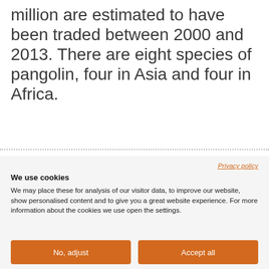million are estimated to have been traded between 2000 and 2013. There are eight species of pangolin, four in Asia and four in Africa.
Privacy policy
We use cookies
We may place these for analysis of our visitor data, to improve our website, show personalised content and to give you a great website experience. For more information about the cookies we use open the settings.
No, adjust
Accept all